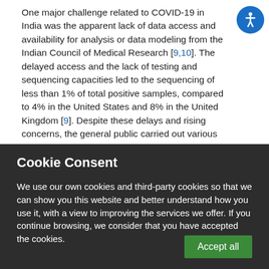One major challenge related to COVID-19 in India was the apparent lack of data access and availability for analysis or data modeling from the Indian Council of Medical Research [9,10]. The delayed access and the lack of testing and sequencing capacities led to the sequencing of less than 1% of total positive samples, compared to 4% in the United States and 8% in the United Kingdom [9]. Despite these delays and rising concerns, the general public carried out various measures to mitigate the infection spread by using emerging technologies and social media strategies. Through this viewpoint, we propose the pivotal role of digital solutions and public participation to re-establish our society and describe how
Cookie Consent
We use our own cookies and third-party cookies so that we can show you this website and better understand how you use it, with a view to improving the services we offer. If you continue browsing, we consider that you have accepted the cookies.